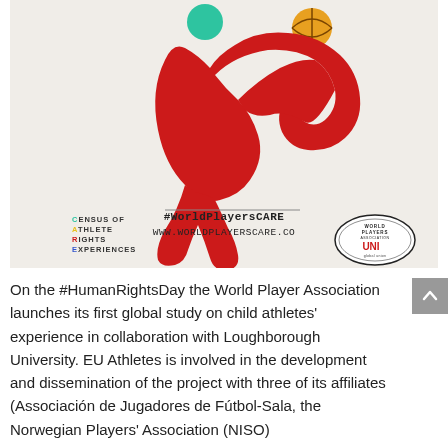[Figure (illustration): World Players CARE campaign image. Light beige/grey background with a large red abstract running/throwing figure made of curved shapes. A teal/green circle above the figure's head (representing a ball or head), and an orange-brown basketball held in an outstretched arm. Bottom-left has 'CENSUS OF ATHLETE RIGHTS EXPERIENCES' text in small colored letters (C=green, A=yellow, R=red, E=blue). Center-bottom shows '#WorldPlayersCARE' and 'WWW.WORLDPLAYERSCARE.CO' in dark monospace text with a horizontal line above. Bottom-right shows the World Players Association / UNI Global Union logo in a circular badge.]
On the #HumanRightsDay the World Player Association launches its first global study on child athletes' experience in collaboration with Loughborough University. EU Athletes is involved in the development and dissemination of the project with three of its affiliates (Associación de Jugadores de Fútbol-Sala, the Norwegian Players' Association (NISO)